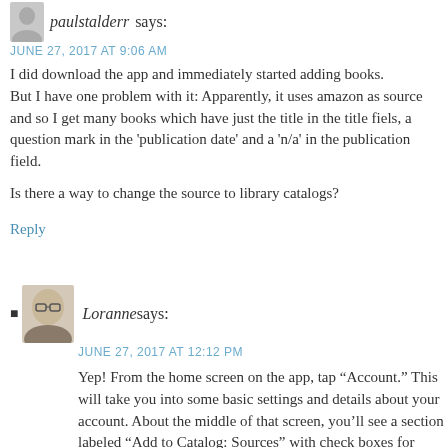paulstalderr says:
JUNE 27, 2017 AT 9:06 AM
I did download the app and immediately started adding books.
But I have one problem with it: Apparently, it uses amazon as source and so I get many books which have just the title in the title fiels, a question mark in the 'publication date' and a 'n/a' in the publication field.

Is there a way to change the source to library catalogs?
Reply
Loranne says:
JUNE 27, 2017 AT 12:12 PM
Yep! From the home screen on the app, tap “Account.” This will take you into some basic settings and details about your account. About the middle of that screen, you’ll see a section labeled “Add to Catalog: Sources” with check boxes for Amazon and Libraries. Both are checked by default. Un-tick Amazon to stop using it as an Add Books source on the app.

You can also reorder them by dragging and dropping so that Libraries is at the top, if you’d rather Add Books look in...